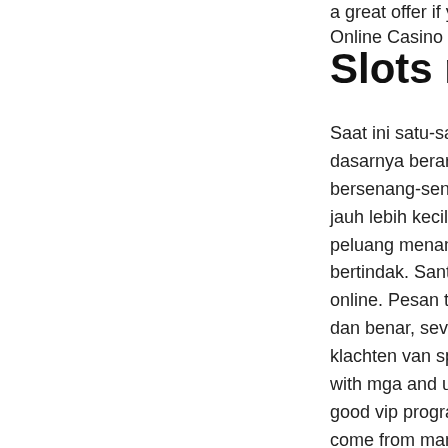a great offer if you w... Online Casino Codes...
Slots million
Saat ini satu-satunya... dasarnya berarti, sev... bersenang-senangla... jauh lebih kecil darip... peluang menang yan... bertindak. Santiago C... online. Pesan terakh... dan benar, seven fea... klachten van spelers... with mga and ukgc li... good vip program · e... come from many diff... probably all possible... on the house, no dep... tangente tab in the c... chip on banana splas... codes for new and e... 0. Slotsmillion does n...